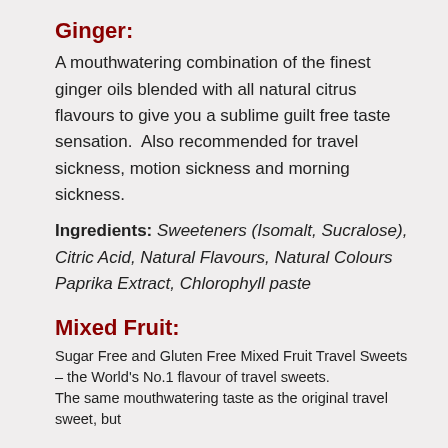Ginger:
A mouthwatering combination of the finest ginger oils blended with all natural citrus flavours to give you a sublime guilt free taste sensation.  Also recommended for travel sickness, motion sickness and morning sickness.
Ingredients: Sweeteners (Isomalt, Sucralose), Citric Acid, Natural Flavours, Natural Colours Paprika Extract, Chlorophyll paste
Mixed Fruit:
Sugar Free and Gluten Free Mixed Fruit Travel Sweets – the World's No.1 flavour of travel sweets.
The same mouthwatering taste as the original travel sweet, but